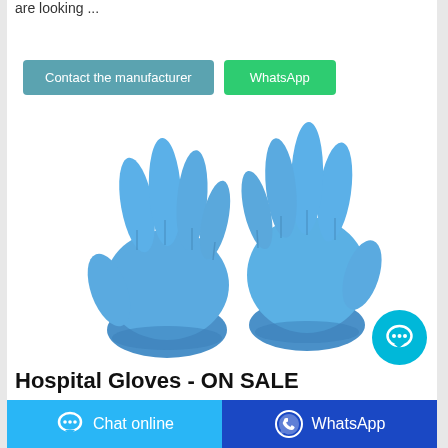are looking ...
[Figure (other): Two blue nitrile hospital/medical examination gloves on white background]
Hospital Gloves - ON SALE
[Figure (other): Footer bar with Chat online and WhatsApp buttons]